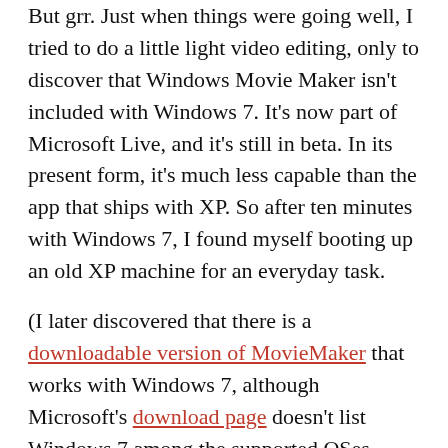But grr. Just when things were going well, I tried to do a little light video editing, only to discover that Windows Movie Maker isn't included with Windows 7. It's now part of Microsoft Live, and it's still in beta. In its present form, it's much less capable than the app that ships with XP. So after ten minutes with Windows 7, I found myself booting up an old XP machine for an everyday task.
(I later discovered that there is a downloadable version of MovieMaker that works with Windows 7, although Microsoft's download page doesn't list Windows 7 among the supported OSes. Nevertheless, it's not nearly as elegant as having it included with the OS.)